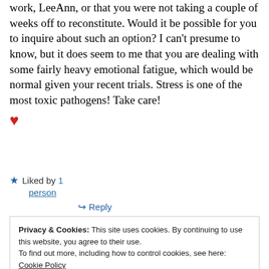work, LeeAnn, or that you were not taking a couple of weeks off to reconstitute. Would it be possible for you to inquire about such an option? I can't presume to know, but it does seem to me that you are dealing with some fairly heavy emotional fatigue, which would be normal given your recent trials. Stress is one of the most toxic pathogens! Take care! ❤
★ Liked by 1 person
↪ Reply
Privacy & Cookies: This site uses cookies. By continuing to use this website, you agree to their use. To find out more, including how to control cookies, see here: Cookie Policy
Close and accept